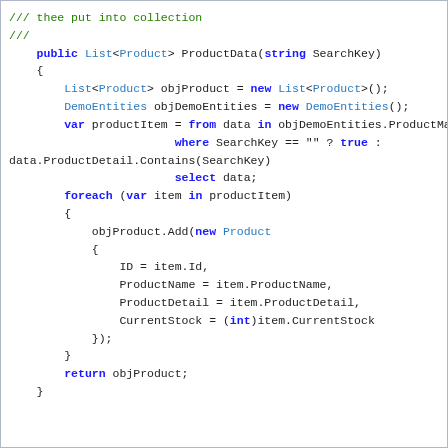/// thee put into collection
///
public List<Product> ProductData(string SearchKey)
{
    List<Product> objProduct = new List<Product>();
    DemoEntities objDemoEntities = new DemoEntities();
    var productItem = from data in objDemoEntities.ProductMasters
                      where SearchKey == "" ? true :
data.ProductDetail.Contains(SearchKey)
                      select data;
    foreach (var item in productItem)
    {
        objProduct.Add(new Product
        {
            ID = item.Id,
            ProductName = item.ProductName,
            ProductDetail = item.ProductDetail,
            CurrentStock = (int)item.CurrentStock
        });
    }
    return objProduct;
}